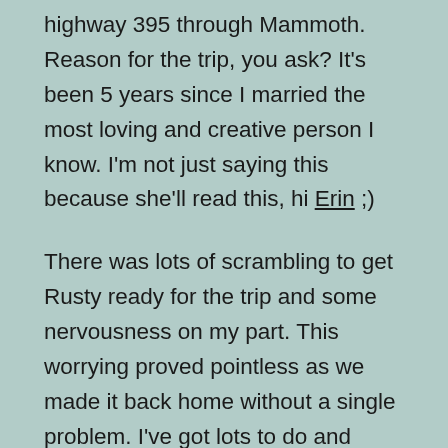highway 395 through Mammoth. Reason for the trip, you ask? It's been 5 years since I married the most loving and creative person I know. I'm not just saying this because she'll read this, hi Erin ;)
There was lots of scrambling to get Rusty ready for the trip and some nervousness on my part. This worrying proved pointless as we made it back home without a single problem. I've got lots to do and clean up, so I'll leave you with photos to tell the story.